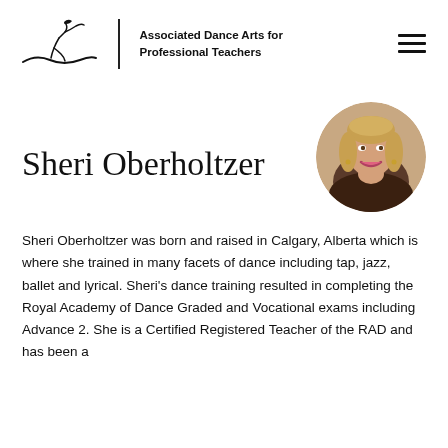Associated Dance Arts for Professional Teachers
Sheri Oberholtzer
[Figure (photo): Circular portrait photo of Sheri Oberholtzer, a woman with blonde hair, smiling, wearing earrings against a warm background.]
Sheri Oberholtzer was born and raised in Calgary, Alberta which is where she trained in many facets of dance including tap, jazz, ballet and lyrical.  Sheri's dance training resulted in completing the Royal Academy of Dance Graded and Vocational exams including Advance 2.  She is a Certified Registered Teacher of the RAD and has been a